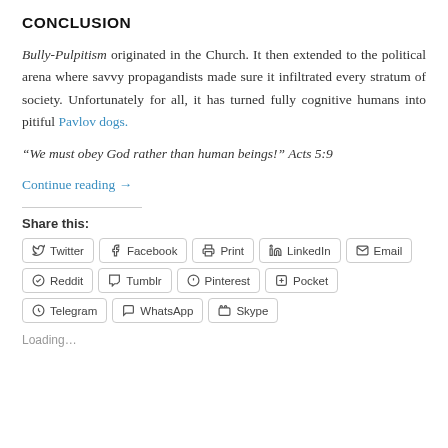CONCLUSION
Bully-Pulpitism originated in the Church. It then extended to the political arena where savvy propagandists made sure it infiltrated every stratum of society. Unfortunately for all, it has turned fully cognitive humans into pitiful Pavlov dogs.
“We must obey God rather than human beings!” Acts 5:9
Continue reading →
Share this:
Twitter Facebook Print LinkedIn Email Reddit Tumblr Pinterest Pocket Telegram WhatsApp Skype
Loading…